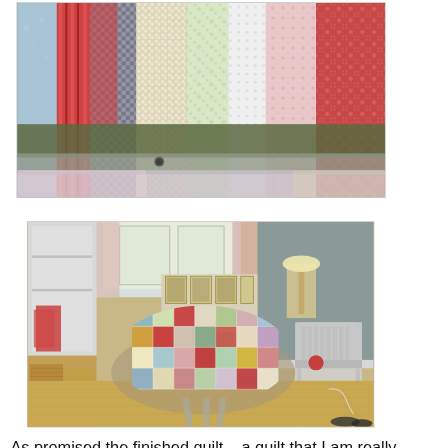[Figure (photo): Close-up photograph of colorful patchwork quilt fabric pieces hanging or displayed, showing various fabric patterns including checks, florals, and solids in blues, reds, greens, pinks, and whites.]
[Figure (photo): Photograph of a finished patchwork quilt draped over a round table in a domestic room setting. The quilt features colorful squares of various fabrics. A white chair is visible to the right, and the room has wooden flooring, curtains, and shelving in the background.]
As promised the finished quilt....a quilt that I am really proud of!  It was made using a lot of Cath Kidston material, fabric from Mamas Mercantile store, modern and vintage buttons and a whole lot of love.  A gift made with love from a Granny to a Grandson.